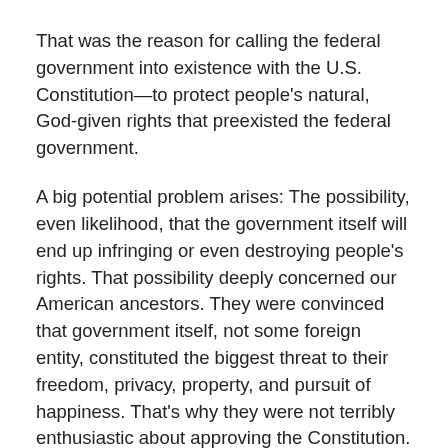That was the reason for calling the federal government into existence with the U.S. Constitution—to protect people's natural, God-given rights that preexisted the federal government.
A big potential problem arises: The possibility, even likelihood, that the government itself will end up infringing or even destroying people's rights. That possibility deeply concerned our American ancestors. They were convinced that government itself, not some foreign entity, constituted the biggest threat to their freedom, privacy, property, and pursuit of happiness. That's why they were not terribly enthusiastic about approving the Constitution. If they hadn't approved it, the United States would have continued operating under the Articles of Confederation, under which the national government didn't even have the power to tax people.
The American people finally decided to go along with the deal. The big argument was that federalism—the concept that the...